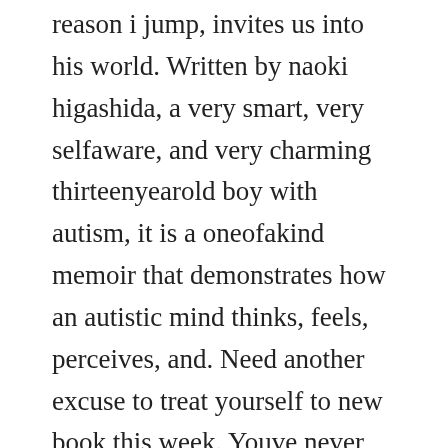reason i jump, invites us into his world. Written by naoki higashida, a very smart, very selfaware, and very charming thirteenyearold boy with autism, it is a oneofakind memoir that demonstrates how an autistic mind thinks, feels, perceives, and. Need another excuse to treat yourself to new book this week. Youve never listened to a book like the reason i jump. Even though higashida is nonverbal because of autism, he is very emotional and is also talented in memorizing japanese characters.
Naoki higashida translated by...